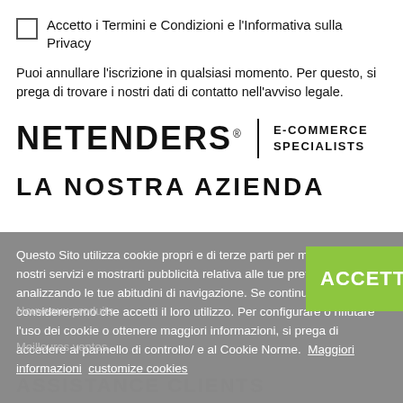Accetto i Termini e Condizioni e l'Informativa sulla Privacy
Puoi annullare l'iscrizione in qualsiasi momento. Per questo, si prega di trovare i nostri dati di contatto nell'avviso legale.
[Figure (logo): NETENDERS® | E-COMMERCE SPECIALISTS logo with vertical divider]
LA NOSTRA AZIENDA
Questo Sito utilizza cookie propri e di terze parti per migliorare i nostri servizi e mostrarti pubblicità relativa alle tue preferenze analizzando le tue abitudini di navigazione. Se continui a navigare considereremo che accetti il loro utilizzo. Per configurare o rifiutare l'uso dei cookie o ottenere maggiori informazioni, si prega di accedere al pannello di controllo/ e al Cookie Norme. Maggiori informazioni customize cookies
Nouveaux produits
Meilleures ventes
ASSISTANCE CLIENTS
Consegna
Avviso legale
Conditions d'utilisation